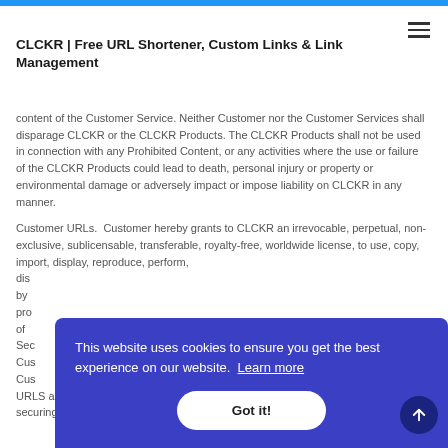CLCKR | Free URL Shortener, Custom Links & Link Management
content of the Customer Service. Neither Customer nor the Customer Services shall disparage CLCKR or the CLCKR Products. The CLCKR Products shall not be used in connection with any Prohibited Content, or any activities where the use or failure of the CLCKR Products could lead to death, personal injury or property or environmental damage or adversely impact or impose liability on CLCKR in any manner.
Customer URLs.  Customer hereby grants to CLCKR an irrevocable, perpetual, non-exclusive, sublicensable, transferable, royalty-free, worldwide license, to use, copy, import, display, reproduce, perform, dis... by ... pro... of ... Sec... Cus... Cus... URLS and is responsible for obtaining, maintaining, retaining and securing the Customer URLs. Customer further acknowledges that
This website uses cookies to ensure you get the best experience on our website.  Learn more
Got it!